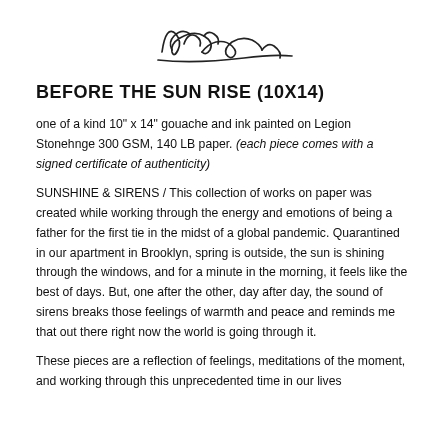[Figure (illustration): A handwritten signature in black ink, centered at the top of the page.]
BEFORE THE SUN RISE (10X14)
one of a kind 10" x 14" gouache and ink painted on Legion Stonehnge 300 GSM, 140 LB paper. (each piece comes with a signed certificate of authenticity)
SUNSHINE & SIRENS / This collection of works on paper was created while working through the energy and emotions of being a father for the first tie in the midst of a global pandemic. Quarantined in our apartment in Brooklyn, spring is outside, the sun is shining through the windows, and for a minute in the morning, it feels like the best of days. But, one after the other, day after day, the sound of sirens breaks those feelings of warmth and peace and reminds me that out there right now the world is going through it.
These pieces are a reflection of feelings, meditations of the moment, and working through this unprecedented time in our lives